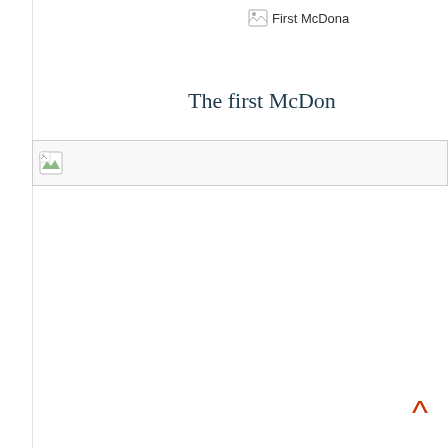[Figure (photo): Broken image placeholder labeled 'First McDona...' (partially visible text, image failed to load)]
The first McDon
[Figure (photo): Broken image placeholder (second image, failed to load), shown as a small icon with a green/white broken image icon inside a bordered box]
[Figure (other): Back-to-top arrow button, red/orange upward caret chevron at bottom right]